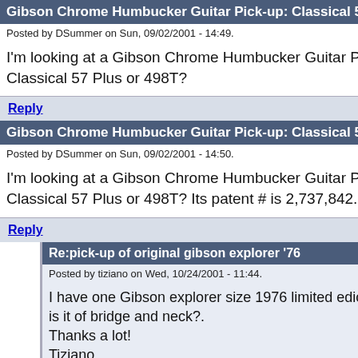Gibson Chrome Humbucker Guitar Pick-up: Classical 5
Posted by DSummer on Sun, 09/02/2001 - 14:49.
I'm looking at a Gibson Chrome Humbucker Guitar Pick-up Classical 57 Plus or 498T?
Reply
Gibson Chrome Humbucker Guitar Pick-up: Classical 5
Posted by DSummer on Sun, 09/02/2001 - 14:50.
I'm looking at a Gibson Chrome Humbucker Guitar Pick-up Classical 57 Plus or 498T? Its patent # is 2,737,842. Thank
Reply
Re:pick-up of original gibson explorer '76
Posted by tiziano on Wed, 10/24/2001 - 11:44.
I have one Gibson explorer size 1976 limited ediction;At is it of bridge and neck?.
Thanks a lot!
Tiziano
Reply